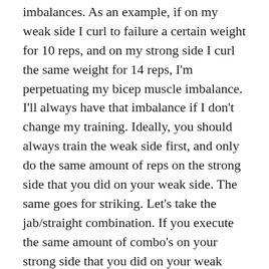imbalances. As an example, if on my weak side I curl to failure a certain weight for 10 reps, and on my strong side I curl the same weight for 14 reps, I'm perpetuating my bicep muscle imbalance. I'll always have that imbalance if I don't change my training. Ideally, you should always train the weak side first, and only do the same amount of reps on the strong side that you did on your weak side. The same goes for striking. Let's take the jab/straight combination. If you execute the same amount of combo's on your strong side that you did on your weak side you will never have your weak side perform as well as your strong side.
The weak side will get better, but it will never be as good as the strong side since the strong